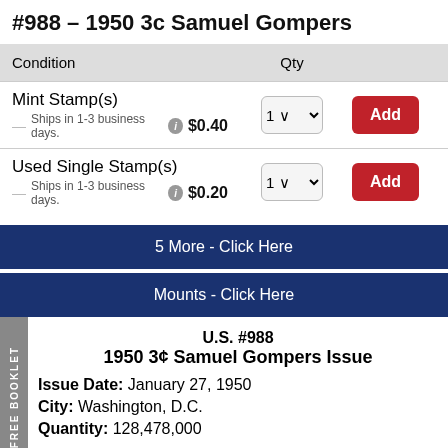#988 – 1950 3c Samuel Gompers
| Condition | Qty |  |
| --- | --- | --- |
| Mint Stamp(s)
Ships in 1-3 business days. $0.40 | 1 | Add |
| Used Single Stamp(s)
Ships in 1-3 business days. $0.20 | 1 | Add |
5 More - Click Here
Mounts - Click Here
U.S. #988
1950 3¢ Samuel Gompers Issue
Issue Date: January 27, 1950
City: Washington, D.C.
Quantity: 128,478,000